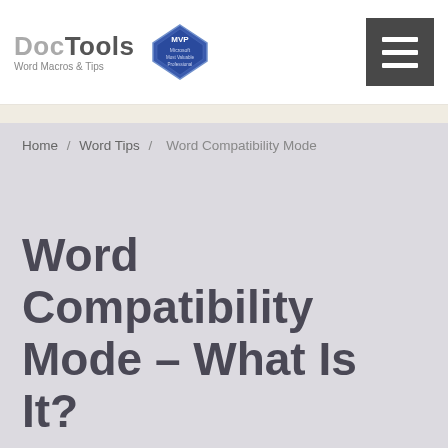DocTools Word Macros & Tips | Microsoft MVP
Home / Word Tips / Word Compatibility Mode
Word Compatibility Mode – What Is It?